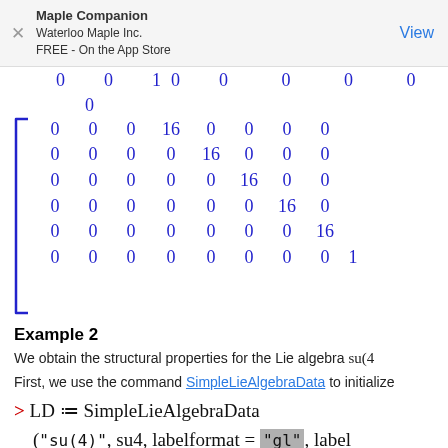Maple Companion
Waterloo Maple Inc.
FREE - On the App Store
View
[Figure (math-figure): Partial view of a large matrix with blue numerals. Visible rows show entries: partial top row (0 0 10 0 0 0 0 0), then rows with 16 on diagonal and 0s elsewhere, last row ends with 0 0 0 0 0 0 0 0 1. Left square bracket visible.]
Example 2
We obtain the structural properties for the Lie algebra su(4
First, we use the command SimpleLieAlgebraData to initialize